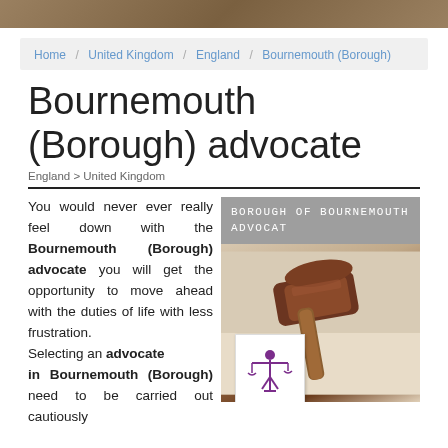Home / United Kingdom / England / Bournemouth (Borough)
Bournemouth (Borough) advocate
England > United Kingdom
You would never ever really feel down with the Bournemouth (Borough) advocate you will get the opportunity to move ahead with the duties of life with less frustration.
Selecting an advocate in Bournemouth (Borough) need to be carried out cautiously
[Figure (photo): A judge's gavel on a desk with a justice scales icon overlay, labeled BOROUGH OF BOURNEMOUTH ADVOCAT]